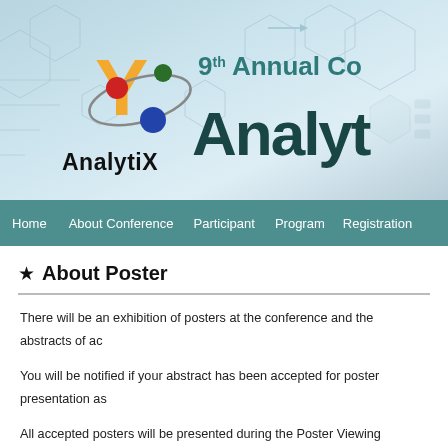[Figure (logo): AnalytiX conference banner with logo showing colored circles and X shape, hexagonal pattern background, text '9th Annual Co... Analyt...']
Home   About Conference   Participant   Program   Registration
★ About Poster
There will be an exhibition of posters at the conference and the abstracts of ac... You will be notified if your abstract has been accepted for poster presentation as... All accepted posters will be presented during the Poster Viewing Session. Post... the conference. Oral presenters will be notified by email or telephone at least 3...